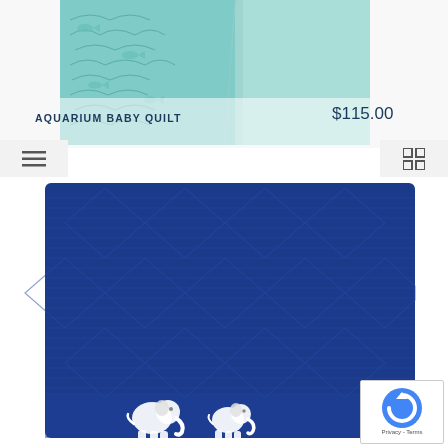[Figure (photo): Aquarium baby quilt with teal/mint color pattern featuring fish and sea creatures, partially folded]
AQUARIUM BABY QUILT
$115.00
[Figure (photo): Navy blue knitted baby blanket with cable knit diamond pattern and two white elephant appliques at the bottom]
[Figure (other): Google reCAPTCHA badge with Privacy - Terms text]